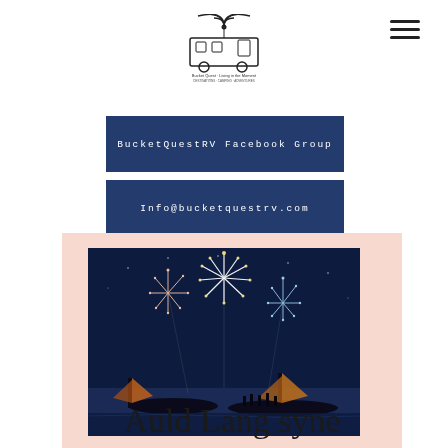[Figure (logo): BucketQuestRV logo with RV and WiFi symbol, text 'Bucket Quest Living in the Moment']
BucketQuestRV Facebook Group
Info@bucketquestrv.com
[Figure (photo): Fireworks over silhouetted sailboats at night, people visible on deck]
Auld Lang syne